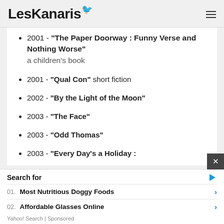LesKanaris
2001 - "The Paper Doorway : Funny Verse and Nothing Worse" a children's book
2001 - "Qual Con" short fiction
2002 - "By the Light of the Moon"
2003 - "The Face"
2003 - "Odd Thomas"
2003 - "Every Day's a Holiday :
Search for
01. Most Nutritious Doggy Foods
02. Affordable Glasses Online
Yahoo! Search | Sponsored